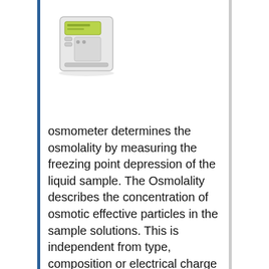[Figure (photo): Photograph of a white osmometer device (laboratory instrument) with a green display panel and small control buttons on the front.]
osmometer determines the osmolality by measuring the freezing point depression of the liquid sample. The Osmolality describes the concentration of osmotic effective particles in the sample solutions. This is independent from type, composition or electrical charge of the solution, because it refers to the mass of the solution.